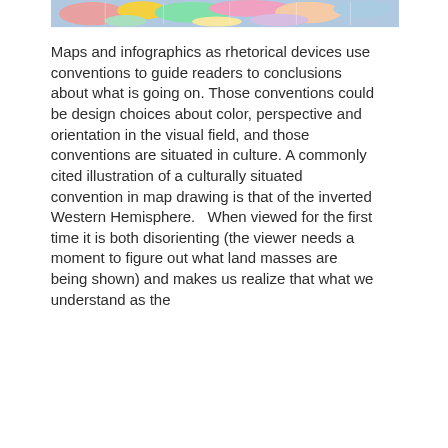[Figure (map): Partial view of a colorful world map showing parts of Asia, Europe, and Africa with countries colored in various colors including pink, red, green, yellow, and blue.]
Maps and infographics as rhetorical devices use conventions to guide readers to conclusions about what is going on. Those conventions could be design choices about color, perspective and orientation in the visual field, and those conventions are situated in culture. A commonly cited illustration of a culturally situated convention in map drawing is that of the inverted Western Hemisphere.   When viewed for the first time it is both disorienting (the viewer needs a moment to figure out what land masses are being shown) and makes us realize that what we understand as the